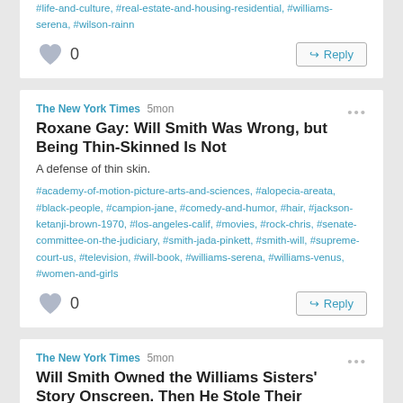#life-and-culture, #real-estate-and-housing-residential, #williams-serena, #wilson-rainn
0  Reply
The New York Times 5mon
Roxane Gay: Will Smith Was Wrong, but Being Thin-Skinned Is Not
A defense of thin skin.
#academy-of-motion-picture-arts-and-sciences, #alopecia-areata, #black-people, #campion-jane, #comedy-and-humor, #hair, #jackson-ketanji-brown-1970, #los-angeles-calif, #movies, #rock-chris, #senate-committee-on-the-judiciary, #smith-jada-pinkett, #smith-will, #supreme-court-us, #television, #will-book, #williams-serena, #williams-venus, #women-and-girls
0  Reply
The New York Times 5mon
Will Smith Owned the Williams Sisters' Story Onscreen. Then He Stole Their Moment.
An Oscar night that should have affirmed Serena and Venus's rise to stardom instead played out in a way they have seen before — triumph